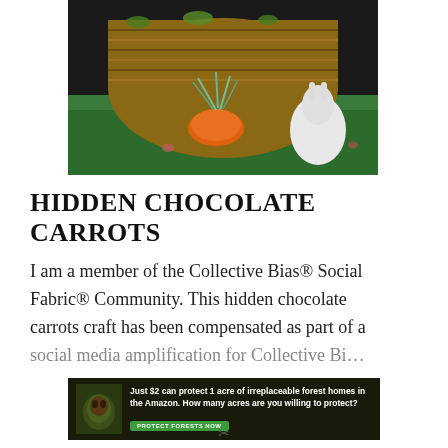[Figure (photo): A wicker basket with moss, a yarn carrot in orange with blue-green stems, and white ceramic rabbit figurines on a green surface against a dark background.]
HIDDEN CHOCOLATE CARROTS
I am a member of the Collective Bias® Social Fabric® Community. This hidden chocolate carrots craft has been compensated as part of a social media amplification for Collective Bi…
[Figure (infographic): Advertisement banner: dark background with leaves. Text reads: 'Just $2 can protect 1 acre of irreplaceable forest homes in the Amazon. How many acres are you willing to protect?' Green button: 'PROTECT FORESTS NOW']